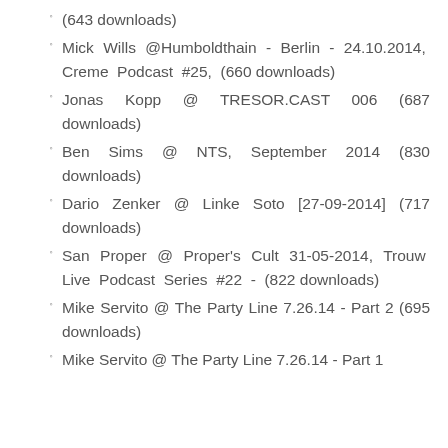(643 downloads)
Mick Wills @Humboldthain - Berlin - 24.10.2014, Creme Podcast #25, (660 downloads)
Jonas Kopp @ TRESOR.CAST 006 (687 downloads)
Ben Sims @ NTS, September 2014 (830 downloads)
Dario Zenker @ Linke Soto [27-09-2014] (717 downloads)
San Proper @ Proper's Cult 31-05-2014, Trouw Live Podcast Series #22 - (822 downloads)
Mike Servito @ The Party Line 7.26.14 - Part 2 (695 downloads)
Mike Servito @ The Party Line 7.26.14 - Part 1